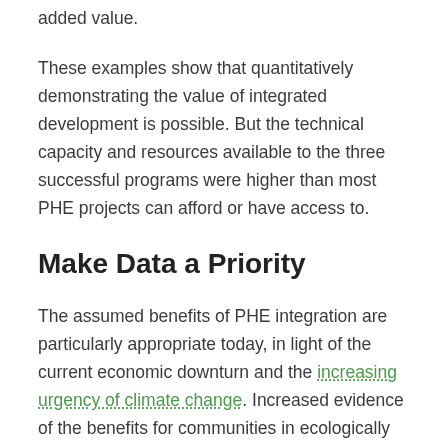added value.
These examples show that quantitatively demonstrating the value of integrated development is possible. But the technical capacity and resources available to the three successful programs were higher than most PHE projects can afford or have access to.
Make Data a Priority
The assumed benefits of PHE integration are particularly appropriate today, in light of the current economic downturn and the increasing urgency of climate change. Increased evidence of the benefits for communities in ecologically threatened areas with rapidly growing populations and high unmet need for reproductive health services may provide the push needed to convince international donors and governments to move away from the traditional stovepipe approach to development